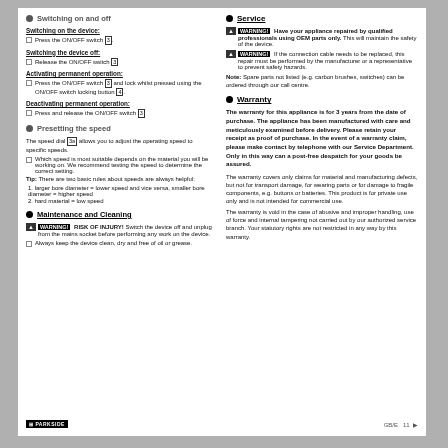Switching on and off
Switching on the device:
Press the ON/OFF switch [3].
Switching the device off:
Release the ON/OFF switch [3]
Activating permanent operation:
Press the ON/OFF switch [3] and lock whilst pressed using the ON/OFF switch locking button [4].
Deactivating permanent operation:
Press and release the ON/OFF switch [3]
Presetting the speed
The speed dial [3a] allows you to adjust the operating speed to specific speeds.
Which speed is most suitable depends on the material you will be working on. We recommend testing the speed to determine the correct setting.
Tip: There are two basic rules about speeds are always helpful:
1. larger bore diameter = lower speed and vice versa, smaller bore diameter = higher speed
2. hard material = low speed
Maintenance and Cleaning
WARNING! RISK OF INJURY! Switch the device off and unplug from the mains socket before performing any work on the device.
Always keep the device clean, dry and free of oil or grease.
Service
WARNING! Have your appliance repaired by qualified professionals using OEM parts only. This will maintain the safety of the device.
WARNING! If the connection cable needs to be replaced, this repair must be performed by the manufacturer or a representative to prevent safety hazards.
Note: Spare parts not listed (e.g. carbon brushes, switches) can be ordered through our call centre.
Warranty
The warranty for this appliance is for 3 years from the date of purchase. The appliance has been manufactured with care and meticulously examined before delivery. Please retain your receipt as proof of purchase. In the event of a warranty claim, please make contact by telephone with our Service Department. Only in this way can a post-free despatch for your goods be assured.
The warranty covers only claims for material and manufacturing defects, but not for transport damage, for wearing parts or for damage to fragile components, e.g. buttons or batteries. This product is for private use only and is not intended for commercial use.
The warranty is void in the case of abusive and improper handling, use of force and internal tampering not carried out by our authorized service branch. Your statutory rights are not restricted in any way by this warranty.
PARKSIDE    GB/E  11